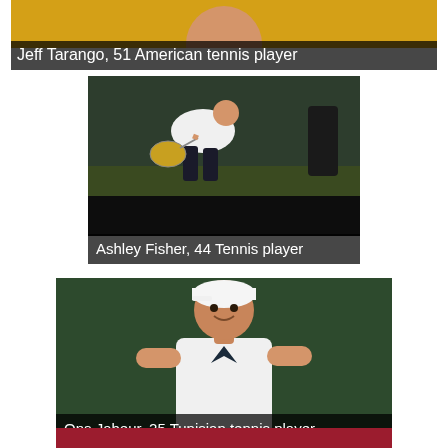[Figure (photo): Jeff Tarango, 51 American tennis player — partially cropped card with golden/yellow background showing top of head]
[Figure (photo): Ashley Fisher, 44 Tennis player — man in white shirt bending over with racket on an indoor tennis court, lower half blacked out]
[Figure (photo): Ons Jabeur, 25 Tunisian tennis player — woman in white tennis outfit with white cap smiling, green background]
[Figure (photo): Partial red card at bottom of page, person not visible]